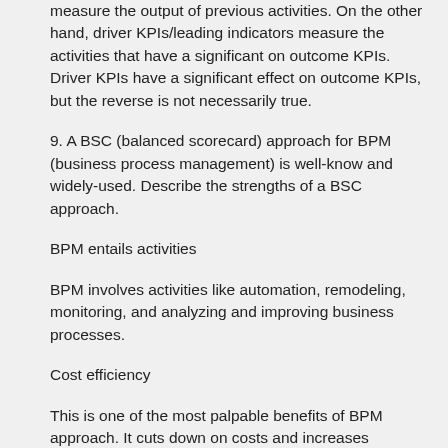measure the output of previous activities. On the other hand, driver KPIs/leading indicators measure the activities that have a significant on outcome KPIs. Driver KPIs have a significant effect on outcome KPIs, but the reverse is not necessarily true.
9. A BSC (balanced scorecard) approach for BPM (business process management) is well-know and widely-used. Describe the strengths of a BSC approach.
BPM entails activities
BPM involves activities like automation, remodeling, monitoring, and analyzing and improving business processes.
Cost efficiency
This is one of the most palpable benefits of BPM approach. It cuts down on costs and increases revenue. BPM adds crucial value in the long run by allowing businesses to compete globally. BPM technology equips